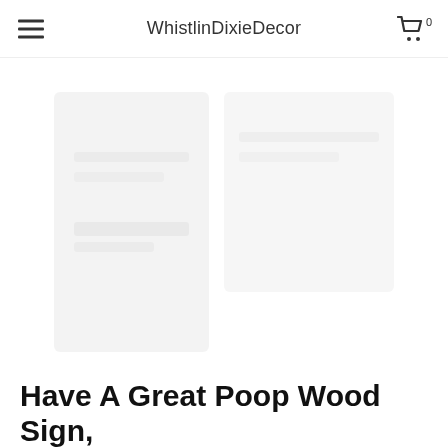WhistlinDixieDecor
[Figure (photo): Faint/ghost product image of a wood sign, very low contrast against white background]
Have A Great Poop Wood Sign,